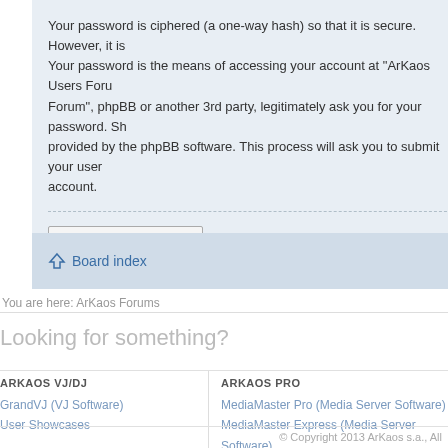Your password is ciphered (a one-way hash) so that it is secure. However, it is ... Your password is the means of accessing your account at "ArKaos Users Forum". Forum", phpBB or another 3rd party, legitimately ask you for your password. Sh... provided by the phpBB software. This process will ask you to submit your user... account.
Back to login screen
Board index
You are here: ArKaos Forums
Looking for something?
ARKAOS VJ/DJ
GrandVJ (VJ Software)
User Showcases
ARKAOS PRO
MediaMaster Pro (Media Server Software)
MediaMaster Express (Media Server Software)
Media Servers (Hardware)
User Showcases
US
You...
Reg...
Ma...
© Copyright 2013 ArKaos s.a., All...